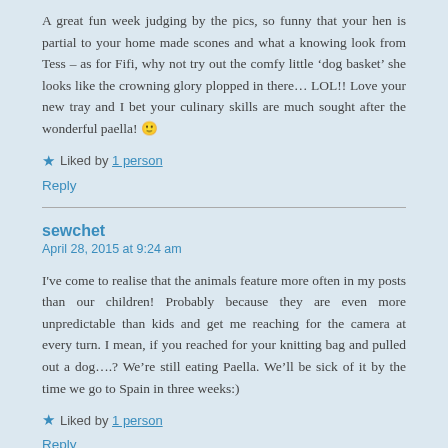A great fun week judging by the pics, so funny that your hen is partial to your home made scones and what a knowing look from Tess – as for Fifi, why not try out the comfy little 'dog basket' she looks like the crowning glory plopped in there… LOL!! Love your new tray and I bet your culinary skills are much sought after the wonderful paella! 🙂
Liked by 1 person
Reply
sewchet
April 28, 2015 at 9:24 am
I've come to realise that the animals feature more often in my posts than our children! Probably because they are even more unpredictable than kids and get me reaching for the camera at every turn. I mean, if you reached for your knitting bag and pulled out a dog….? We're still eating Paella. We'll be sick of it by the time we go to Spain in three weeks:)
Liked by 1 person
Reply